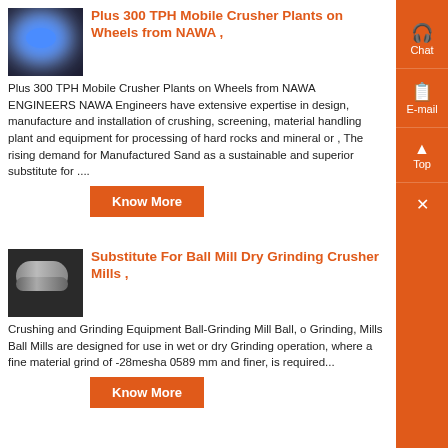[Figure (photo): Industrial welding/machinery photo with blue light flash against dark background]
Plus 300 TPH Mobile Crusher Plants on Wheels from NAWA ,
Plus 300 TPH Mobile Crusher Plants on Wheels from NAWA ENGINEERS NAWA Engineers have extensive expertise in design, manufacture and installation of crushing, screening, material handling plant and equipment for processing of hard rocks and mineral or , The rising demand for Manufactured Sand as a sustainable and superior substitute for ....
Know More
[Figure (photo): Industrial grinding mill cylinder / ball mill equipment photo]
Substitute For Ball Mill Dry Grinding Crusher Mills ,
Crushing and Grinding Equipment Ball-Grinding Mill Ball, o Grinding, Mills Ball Mills are designed for use in wet or dry Grinding operation, where a fine material grind of -28mesha 0589 mm and finer, is required...
Know More